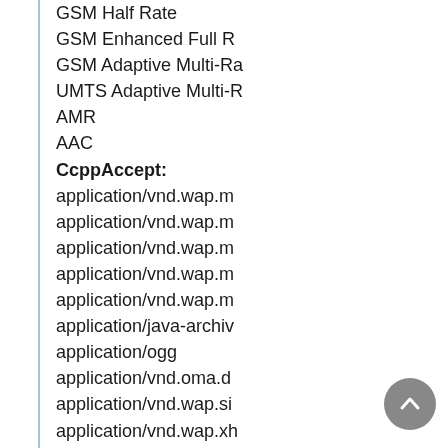GSM Half Rate
GSM Enhanced Full R...
GSM Adaptive Multi-R...
UMTS Adaptive Multi-R...
AMR
AAC
CcppAccept:
application/vnd.wap.m...
application/vnd.wap.m...
application/vnd.wap.m...
application/vnd.wap.m...
application/vnd.wap.m...
application/java-archiv...
application/ogg
application/vnd.oma.d...
application/vnd.wap.si...
application/vnd.wap.xh...
application/xhtml+xml
audio/aac
audio/aac+
audio/amr
audio/amr-nb
audio/imelody
audio/mid
audio/midi